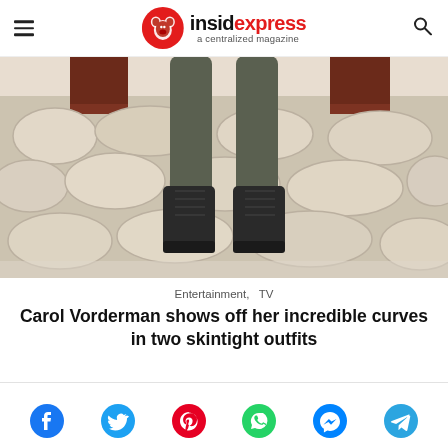insid express — a centralized magazine
[Figure (photo): Cropped photo showing a person's legs in dark grey skinny jeans and black lace-up ankle boots, standing on a stone-pattern tiled floor with dark wood furniture in the background]
Entertainment,   TV
Carol Vorderman shows off her incredible curves in two skintight outfits
[Figure (infographic): Social sharing icons row: Facebook (blue), Twitter (blue), Pinterest (red), WhatsApp (green), Messenger (blue), Telegram (blue)]